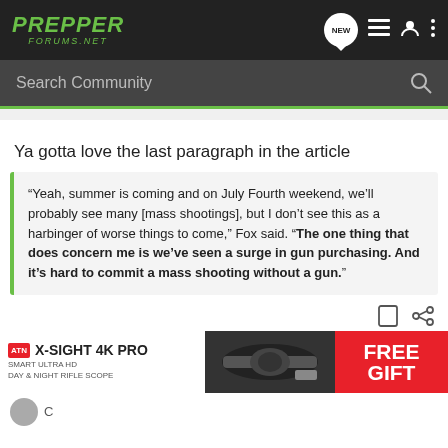PREPPER FORUMS.NET
Search Community
Ya gotta love the last paragraph in the article
“Yeah, summer is coming and on July Fourth weekend, we’ll probably see many [mass shootings], but I don’t see this as a harbinger of worse things to come,” Fox said. “The one thing that does concern me is we’ve seen a surge in gun purchasing. And it’s hard to commit a mass shooting without a gun.”
[Figure (other): Advertisement banner for ATN X-SIGHT 4K PRO Smart Ultra HD Day & Night Rifle Scope with FREE GIFT offer]